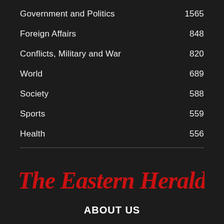Government and Politics  1565
Foreign Affairs  848
Conflicts, Military and War  820
World  689
Society  588
Sports  559
Health  556
[Figure (logo): The Eastern Herald logo in red italic blackletter/gothic font]
ABOUT US